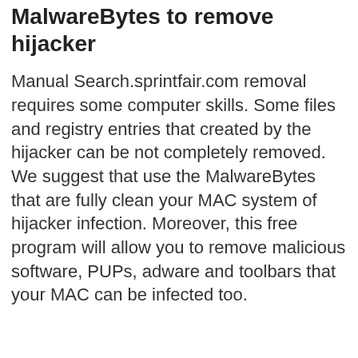MalwareBytes to remove hijacker
Manual Search.sprintfair.com removal requires some computer skills. Some files and registry entries that created by the hijacker can be not completely removed. We suggest that use the MalwareBytes that are fully clean your MAC system of hijacker infection. Moreover, this free program will allow you to remove malicious software, PUPs, adware and toolbars that your MAC can be infected too.